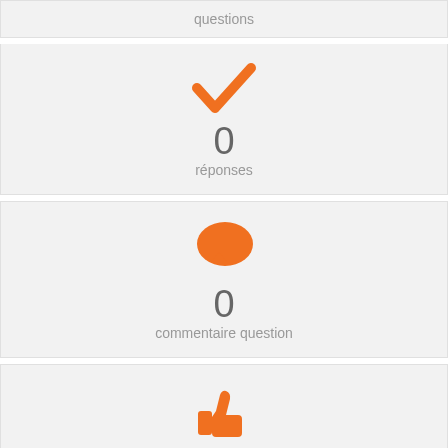[Figure (infographic): Orange checkmark icon with count 0 and label réponses]
réponses
[Figure (infographic): Orange speech bubble icon with count 0 and label commentaire question]
commentaire question
[Figure (infographic): Orange thumbs up icon with count 0 and label aime]
aime
[Figure (infographic): Orange thumbs down icon partially visible at bottom]